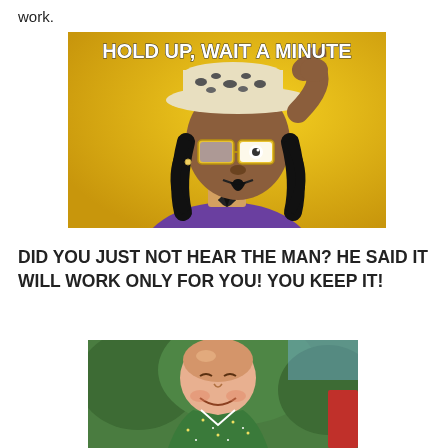work.
[Figure (illustration): Animated cartoon character styled like Snoop Dogg wearing a wide-brimmed hat and glasses with one lens missing, raising a hand. Gold background. Text reads HOLD UP, WAIT A MINUTE]
DID YOU JUST NOT HEAR THE MAN? HE SAID IT WILL WORK ONLY FOR YOU! YOU KEEP IT!
[Figure (photo): Photo of a smiling bald man in a colorful sparkly jacket outdoors with green trees behind him]